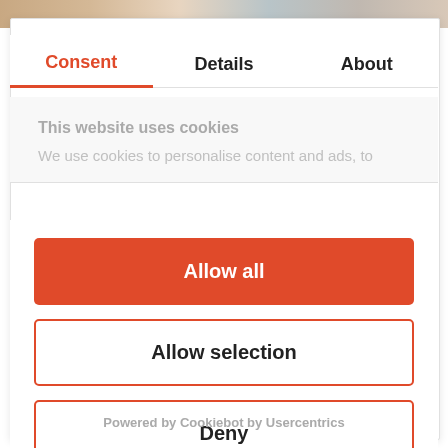[Figure (photo): Top strip showing partial photo of people]
Consent | Details | About
This website uses cookies
We use cookies to personalise content and ads, to
Allow all
Allow selection
Deny
Powered by Cookiebot by Usercentrics